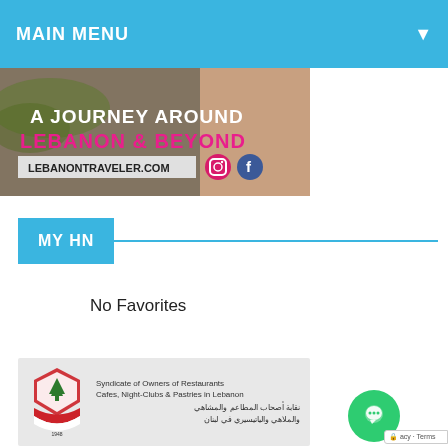MAIN MENU
[Figure (illustration): Banner advertisement for LebanonTraveler.com showing text 'A JOURNEY AROUND LEBANON & BEYOND' with Instagram and Facebook icons and a person with a backpack in the background.]
MY HN
No Favorites
[Figure (logo): Syndicate of Owners of Restaurants, Cafes, Night-Clubs & Pastries in Lebanon logo with Arabic text and cedar emblem on gray background.]